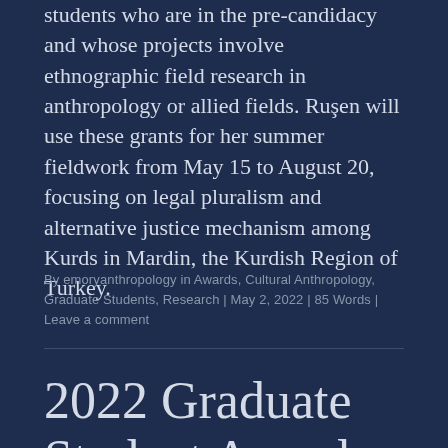students who are in the pre-candidacy and whose projects involve ethnographic field research in anthropology or allied fields. Ruşen will use these grants for her summer fieldwork from May 15 to August 20, focusing on legal pluralism and alternative justice mechanism among Kurds in Mardin, the Kurdish Region of Turkey.
By emoryanthropology in Awards, Cultural Anthropology, Graduate Students, Research | May 2, 2022 | 85 Words | Leave a comment
2022 Graduate Student Awards